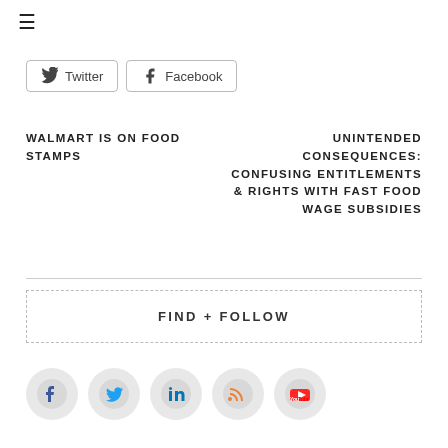≡
Twitter   Facebook
WALMART IS ON FOOD STAMPS
UNINTENDED CONSEQUENCES: CONFUSING ENTITLEMENTS & RIGHTS WITH FAST FOOD WAGE SUBSIDIES
FIND + FOLLOW
[Figure (illustration): Social media icons row: Facebook, Twitter, LinkedIn, RSS, YouTube]